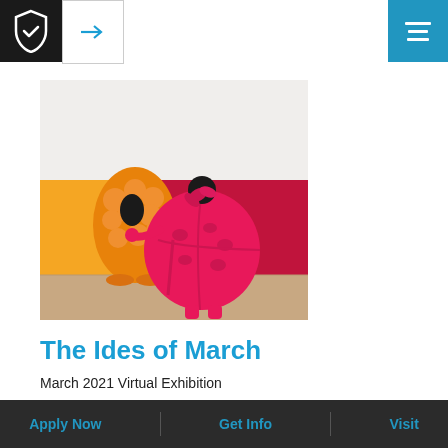[Figure (logo): Shield/badge logo in white on black background with arrow navigation box]
[Figure (photo): Colorful art installation photo showing two sculptural creature costumes — one orange/yellow bumpy figure and one large round hot-pink figure — standing in front of large circular orange and pink/red wall panels in a gallery setting]
The Ides of March
March 2021 Virtual Exhibition
Apply Now    Get Info    Visit